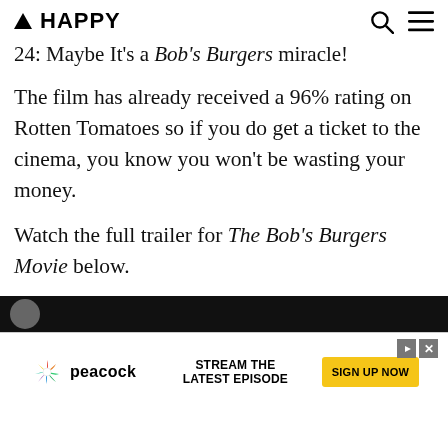▲ HAPPY
24: Maybe It's a Bob's Burgers miracle!
The film has already received a 96% rating on Rotten Tomatoes so if you do get a ticket to the cinema, you know you won't be wasting your money.
Watch the full trailer for The Bob's Burgers Movie below.
[Figure (screenshot): Embedded video player with dark/black background, partially visible circle icon at lower left.]
[Figure (screenshot): Peacock advertisement banner: NBC Peacock logo on left, 'STREAM THE LATEST EPISODE' text in center, 'SIGN UP NOW' yellow button on right, with play and close icons.]